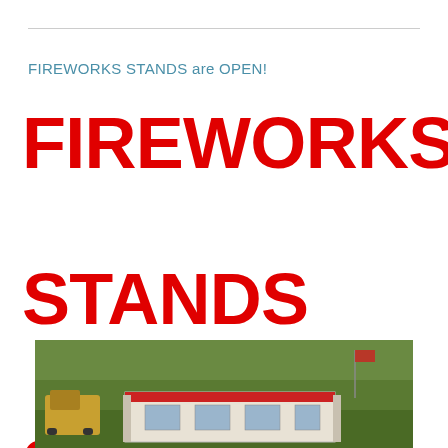FIREWORKS STANDS are OPEN!
FIREWORKS STANDS are OPEN! 💥
[Figure (photo): Aerial photograph of a fireworks stand in a grassy field with equipment nearby]